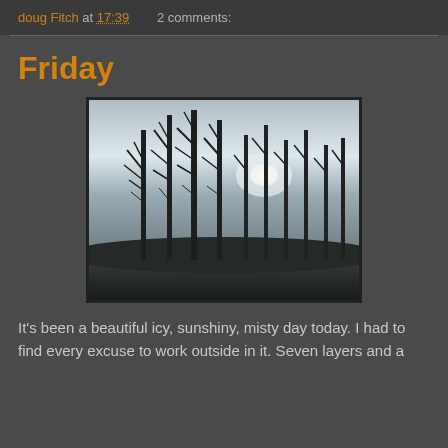doug Fitch at 17:39    2 comments:
Friday
[Figure (photo): Outdoor winter photograph showing bare deciduous trees silhouetted against a pale grey misty sky, with a faint sun visible through the branches, and a dark ground/hedge line at the bottom.]
It's been a beautiful icy, sunshiny, misty day today. I had to find every excuse to work outside in it. Seven layers and a